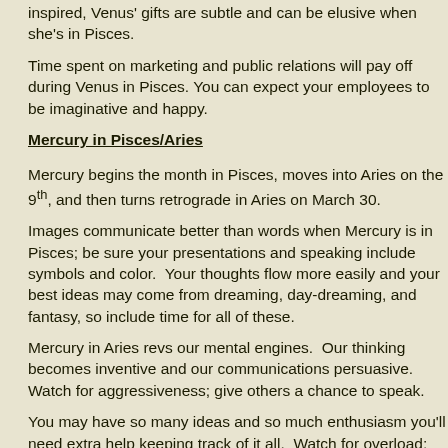inspired, Venus' gifts are subtle and can be elusive when she's in Pisces.
Time spent on marketing and public relations will pay off during Venus in Pisces. You can expect your employees to be imaginative and happy.
Mercury in Pisces/Aries
Mercury begins the month in Pisces, moves into Aries on the 9th, and then turns retrograde in Aries on March 30.
Images communicate better than words when Mercury is in Pisces; be sure your presentations and speaking include symbols and color. Your thoughts flow more easily and your best ideas may come from dreaming, day-dreaming, and fantasy, so include time for all of these.
Mercury in Aries revs our mental engines. Our thinking becomes inventive and our communications persuasive. Watch for aggressiveness; give others a chance to speak.
You may have so many ideas and so much enthusiasm you'll need extra help keeping track of it all. Watch for overload; headaches will be a sign to relax, cool yourself.
Sun in Pisces/Aries
The Sun in Pisces is a transitional time of year, a time of completion and preparation for the new start indicated at the end of Pisces, the time of the Equinox. Use the heightened intuition of the Pisces Sun to sense how your direction will adjust to the coming year.
On March 20 is the Equinox; vernal for us northerners; autumnal for you southerners. (That's north and south of the equator.) Half way between the longest and shortest days of the year, it's time to take stock. How far have you come since the Solstice? Have you accomplished your goals so far this year? Is there a course correction you need to make?
The Sun in Aries is a time of heightened energy and new beginnings. Take a